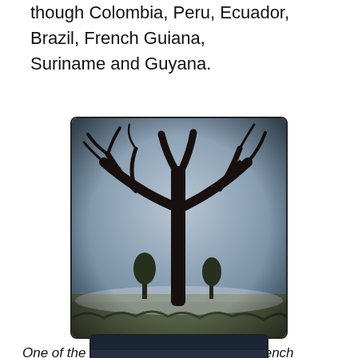though Colombia, Peru, Ecuador, Brazil, French Guiana, Suriname and Guyana.
[Figure (photo): A tall bare Amazon tree silhouetted against a pale blue-grey sky, with smaller trees and scrub vegetation at its base, photographed in French Guiana. The photo has a slightly vigneted, muted tone with a dark border frame.]
One of the gorgeous Amazon trees in French Guiana
[Figure (photo): Partial view of a second photograph, cropped at the bottom of the page, showing a dark landscape scene.]